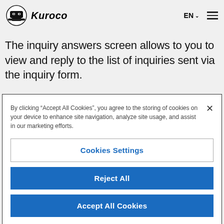Kuroco  EN
The inquiry answers screen allows to you to view and reply to the list of inquiries sent via the inquiry form.
[Figure (screenshot): Cookie consent modal dialog with 'Cookies Settings', 'Reject All', and 'Accept All Cookies' buttons]
By clicking “Accept All Cookies”, you agree to the storing of cookies on your device to enhance site navigation, analyze site usage, and assist in our marketing efforts.